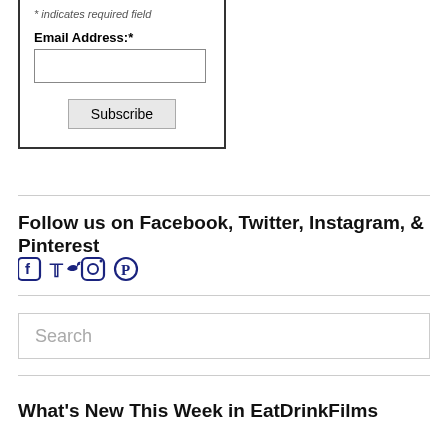* indicates required field
Email Address:*
[Figure (screenshot): Subscribe form with email input field and Subscribe button]
Follow us on Facebook, Twitter, Instagram, & Pinterest
[Figure (infographic): Social media icons: Facebook, Twitter, Instagram, Pinterest in dark blue]
Search
What's New This Week in EatDrinkFilms